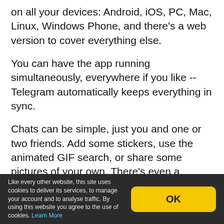on all your devices: Android, iOS, PC, Mac, Linux, Windows Phone, and there's a web version to cover everything else.
You can have the app running simultaneously, everywhere if you like -- Telegram automatically keeps everything in sync.
Chats can be simple, just you and one or two friends. Add some stickers, use the animated GIF search, or share some pictures of your own. There's even a capable photo editor to make sure your images are looking their best.
But that's just the start. You could also work with groups of up to 5,000 people, and share an unlimited number of
Like every other website, this site uses cookies to deliver its services, to manage your account and to analyse traffic. By using this website you agree to the use of cookies. Learn More